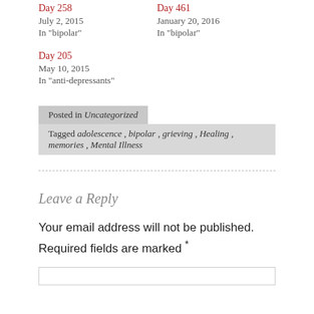Day 258
July 2, 2015
In "bipolar"
Day 461
January 20, 2016
In "bipolar"
Day 205
May 10, 2015
In "anti-depressants"
Posted in Uncategorized
Tagged adolescence, bipolar, grieving, Healing, memories, Mental Illness
Leave a Reply
Your email address will not be published. Required fields are marked *